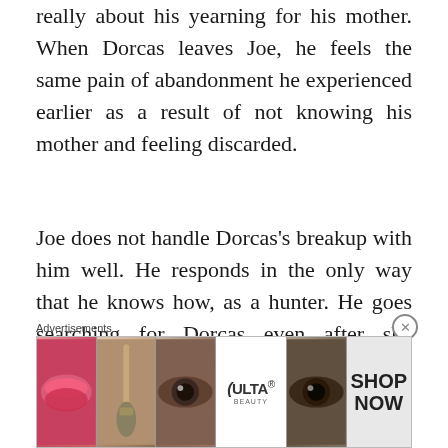really about his yearning for his mother. When Dorcas leaves Joe, he feels the same pain of abandonment he experienced earlier as a result of not knowing his mother and feeling discarded.
Joe does not handle Dorcas's breakup with him well. He responds in the only way that he knows how, as a hunter. He goes searching for Dorcas even after she repeatedly asks him to leave her alone. Joe even offers to leave Violet for Dorcas. Eventually, he kills the girl at a rent party
Advertisements
[Figure (photo): Advertisement banner for Ulta Beauty showing close-up images of lips with red lipstick, a makeup brush, an eye with dramatic makeup, the Ulta Beauty logo, another eye with dark makeup, and a 'SHOP NOW' call to action.]